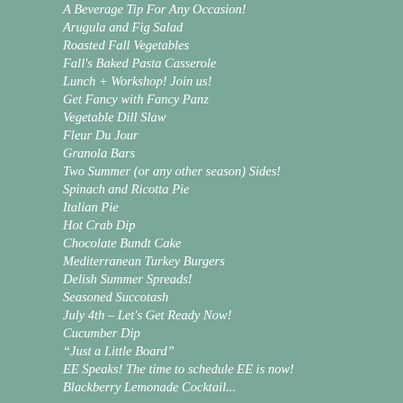A Beverage Tip For Any Occasion!
Arugula and Fig Salad
Roasted Fall Vegetables
Fall's Baked Pasta Casserole
Lunch + Workshop! Join us!
Get Fancy with Fancy Panz
Vegetable Dill Slaw
Fleur Du Jour
Granola Bars
Two Summer (or any other season) Sides!
Spinach and Ricotta Pie
Italian Pie
Hot Crab Dip
Chocolate Bundt Cake
Mediterranean Turkey Burgers
Delish Summer Spreads!
Seasoned Succotash
July 4th – Let's Get Ready Now!
Cucumber Dip
“Just a Little Board”
EE Speaks! The time to schedule EE is now!
Blackberry Lemonade Cocktail...